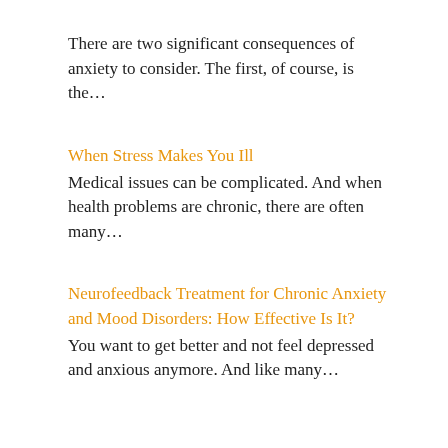There are two significant consequences of anxiety to consider. The first, of course, is the…
When Stress Makes You Ill
Medical issues can be complicated. And when health problems are chronic, there are often many…
Neurofeedback Treatment for Chronic Anxiety and Mood Disorders: How Effective Is It?
You want to get better and not feel depressed and anxious anymore. And like many…